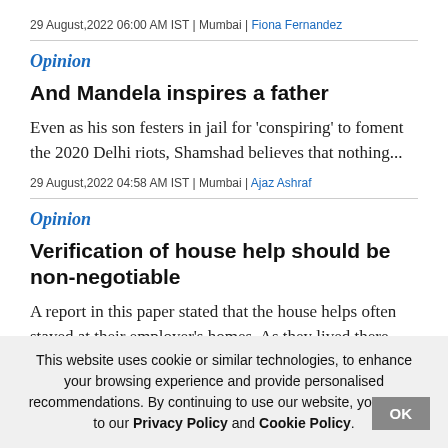29 August,2022 06:00 AM IST | Mumbai | Fiona Fernandez
Opinion
And Mandela inspires a father
Even as his son festers in jail for 'conspiring' to foment the 2020 Delhi riots, Shamshad believes that nothing...
29 August,2022 04:58 AM IST | Mumbai | Ajaz Ashraf
Opinion
Verification of house help should be non-negotiable
A report in this paper stated that the house helps often stayed at their employer's homes. As they lived there, th...
29 August,2022 04:55 AM IST | Mumbai | The Editorial
This website uses cookie or similar technologies, to enhance your browsing experience and provide personalised recommendations. By continuing to use our website, you agree to our Privacy Policy and Cookie Policy.